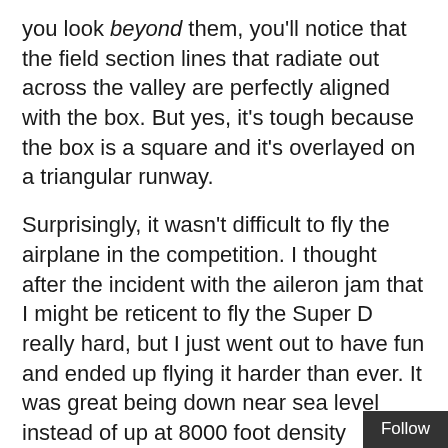you look beyond them, you'll notice that the field section lines that radiate out across the valley are perfectly aligned with the box. But yes, it's tough because the box is a square and it's overlayed on a triangular runway.
Surprisingly, it wasn't difficult to fly the airplane in the competition. I thought after the incident with the aileron jam that I might be reticent to fly the Super D really hard, but I just went out to have fun and ended up flying it harder than ever. It was great being down near sea level instead of up at 8000 foot density altitudes.
The flight home was interesting, too. On the way back the clouds obscured the southern half of the state, so I flew back in formation with the Pitts (he has a GPS) and we just circled down through a hole over Huntington Beach